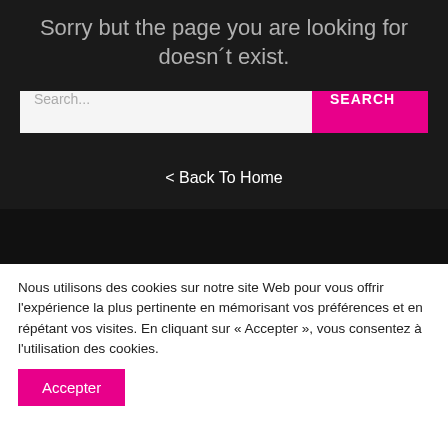Sorry but the page you are looking for doesn´t exist.
Search...
SEARCH
< Back To Home
Nous utilisons des cookies sur notre site Web pour vous offrir l'expérience la plus pertinente en mémorisant vos préférences et en répétant vos visites. En cliquant sur « Accepter », vous consentez à l'utilisation des cookies.
Accepter